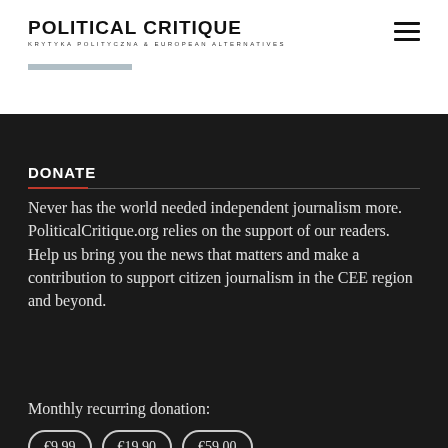POLITICAL CRITIQUE — KRYTYKA POLITYCZNA & EUROPEAN ALTERNATIVES
DONATE
Never has the world needed independent journalism more. PoliticalCritique.org relies on the support of our readers. Help us bring you the news that matters and make a contribution to support citizen journalism in the CEE region and beyond.
Monthly recurring donation:
€9,99   €19,90   €59,00